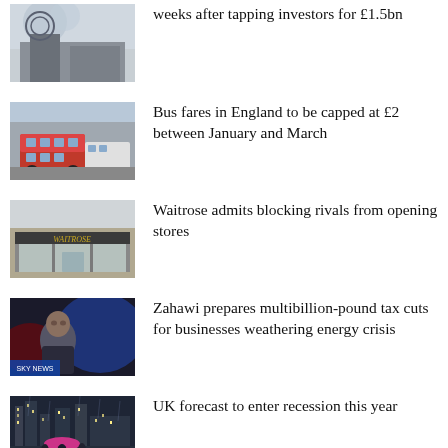weeks after tapping investors for £1.5bn
[Figure (photo): News thumbnail 1 - building/exterior]
Bus fares in England to be capped at £2 between January and March
[Figure (photo): News thumbnail 2 - buses on street]
Waitrose admits blocking rivals from opening stores
[Figure (photo): News thumbnail 3 - Waitrose store exterior]
Zahawi prepares multibillion-pound tax cuts for businesses weathering energy crisis
[Figure (photo): News thumbnail 4 - person speaking on TV]
UK forecast to enter recession this year
[Figure (photo): News thumbnail 5 - people in rain]
Soaring US dollar pushes pound to